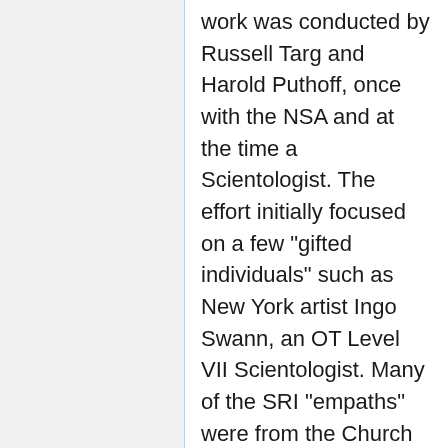work was conducted by Russell Targ and Harold Puthoff, once with the NSA and at the time a Scientologist. The effort initially focused on a few "gifted individuals" such as New York artist Ingo Swann, an OT Level VII Scientologist. Many of the SRI "empaths" were from the Church of Scientology. [...] Under the auspices of the DIA, the program transitioned to Science Applications International Corporation [SAIC] in 1991 and was renamed STAR GATE. The project, changed from a SAP (Special Access Program) to a LIMDIS (limited dissemination) program, continued with the participation of Edwin May, who